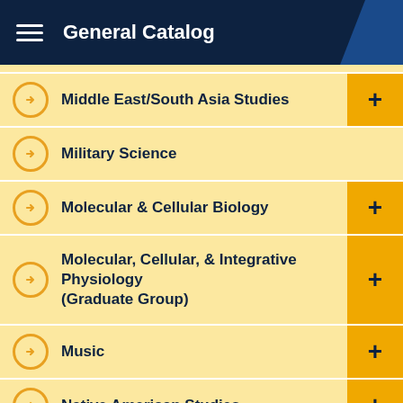General Catalog
Middle East/South Asia Studies
Military Science
Molecular & Cellular Biology
Molecular, Cellular, & Integrative Physiology (Graduate Group)
Music
Native American Studies
Neurobiology, Physiology, & Behavior